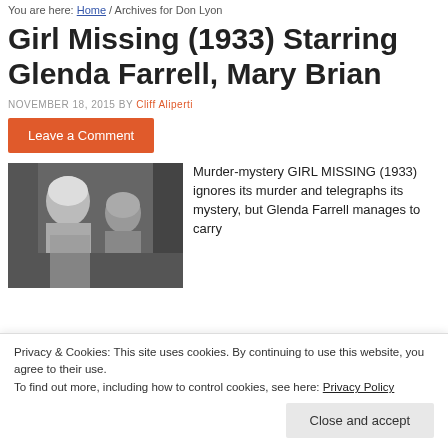You are here: Home / Archives for Don Lyon
Girl Missing (1933) Starring Glenda Farrell, Mary Brian
NOVEMBER 18, 2015 BY Cliff Aliperti
Leave a Comment
[Figure (photo): Black and white still from the 1933 film Girl Missing showing two women]
Murder-mystery GIRL MISSING (1933) ignores its murder and telegraphs its mystery, but Glenda Farrell manages to carry
Privacy & Cookies: This site uses cookies. By continuing to use this website, you agree to their use.
To find out more, including how to control cookies, see here: Privacy Policy
Close and accept